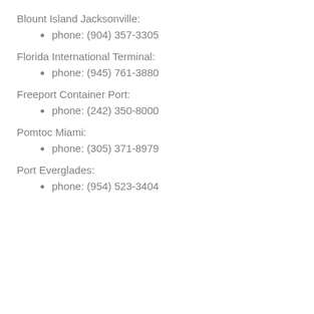Blount Island Jacksonville:
phone: (904) 357-3305
Florida International Terminal:
phone: (945) 761-3880
Freeport Container Port:
phone: (242) 350-8000
Pomtoc Miami:
phone: (305) 371-8979
Port Everglades:
phone: (954) 523-3404